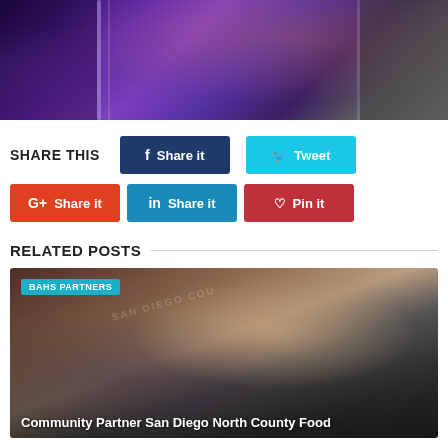[Figure (photo): Concert or event photo with purple/violet lighting, instruments visible on stage]
SHARE THIS
Share it (Facebook)
Tweet
Share it (Google+)
Share it (LinkedIn)
Pin it
RELATED POSTS
[Figure (photo): Child in front of San Diego County logo/shirt, related post image for BAHS Partners]
Community Partner San Diego North County Food